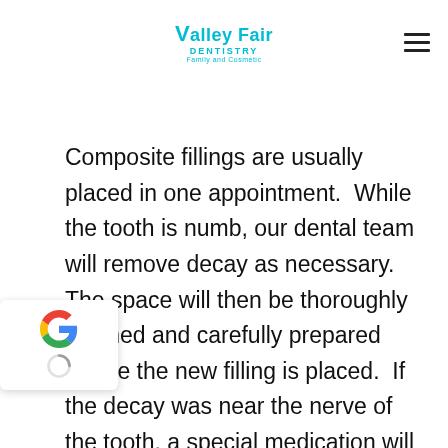[Figure (logo): Valley Fair Dentistry logo with teal/cyan text and 'Family and Cosmetic' subtitle]
Composite fillings are usually placed in one appointment.  While the tooth is numb, our dental team will remove decay as necessary.  The space will then be thoroughly cleaned and carefully prepared before the new filling is placed.  If the decay was near the nerve of the tooth, a special medication will be applied for added protection.  The composite [g]will then be precisely placed, [g]ed, and polished, restoring your tooth to its original shape and function.